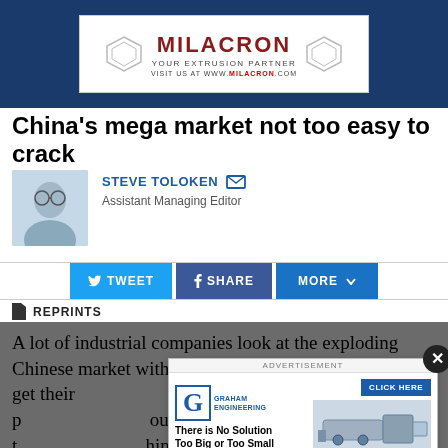[Figure (other): Milacron banner advertisement: 'MILACRON YOUR EXTRUSION PARTNER VISIT US AT WWW.MILACRON.COM' on dark blue background]
China's mega market not too easy to crack
STEVE TOLOKEN  Assistant Managing Editor
TWEET  SHARE  MORE
REPRINTS
A lot of industrial companies look at the exploding Chinese market with envy and wonder how they can get their ... one of the foreign p... country's largest t... hinder that cr...
[Figure (other): Graham Engineering advertisement overlay with logo, tagline 'There is No Solution Too Big or Too Small', CLICK HERE button, and machine image]